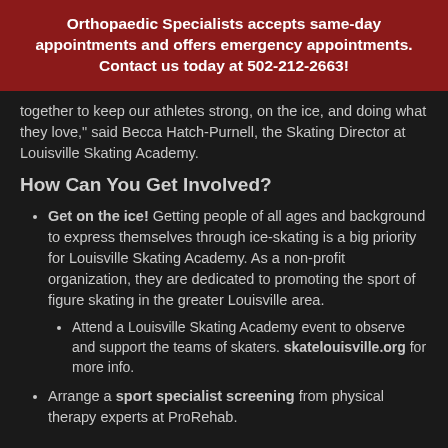Orthopaedic Specialists accepts same-day appointments and offers emergency appointments. Contact us today at 502-212-2663!
together to keep our athletes strong, on the ice, and doing what they love," said Becca Hatch-Purnell, the Skating Director at Louisville Skating Academy.
How Can You Get Involved?
Get on the ice! Getting people of all ages and background to express themselves through ice-skating is a big priority for Louisville Skating Academy. As a non-profit organization, they are dedicated to promoting the sport of figure skating in the greater Louisville area.
Attend a Louisville Skating Academy event to observe and support the teams of skaters. skatelouisville.org for more info.
Arrange a sport specialist screening from physical therapy experts at ProRehab.